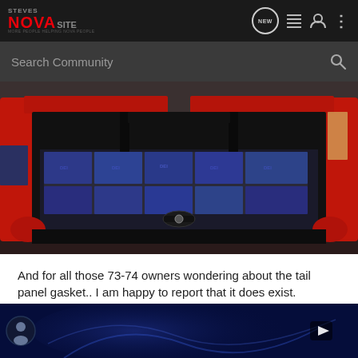STEVES NOVA SITE — MORE PEOPLE HELPING NOVA PEOPLE
Search Community
[Figure (photo): Interior trunk/cargo area of a classic Chevy Nova showing red painted body panels, black frame, and blue sound deadening/insulation material laid across the floor]
And for all those 73-74 owners wondering about the tail panel gasket.. I am happy to report that it does exist.
Heres th                                                                     link to
where I                                                                       r me as